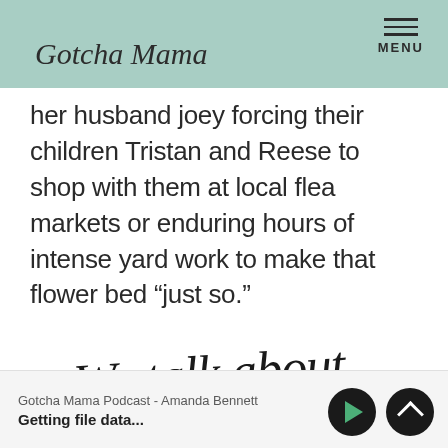Gotcha Mama | MENU
her husband joey forcing their children Tristan and Reese to shop with them at local flea markets or enduring hours of intense yard work to make that flower bed “just so.”
[Figure (illustration): Handwritten script text reading 'We talk about']
Gotcha Mama Podcast - Amanda Bennett
Getting file data...